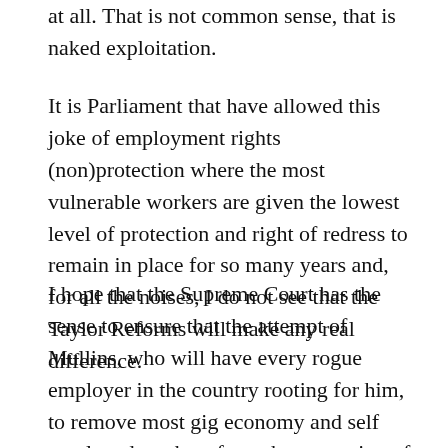at all. That is not common sense, that is naked exploitation.
It is Parliament that have allowed this joke of employment rights (non)protection where the most vulnerable workers are given the lowest level of protection and right of redress to remain in place for so many years and, for all the noises, I do not see that the Taylor Reforms will make any real difference.
I hope that the Supreme Court has the sense to ensure that the attempt of Mullins, who will have every rogue employer in the country rooting for him, to remove most gig economy and self employed workers from the protection of UK anti-discrimination law fails.